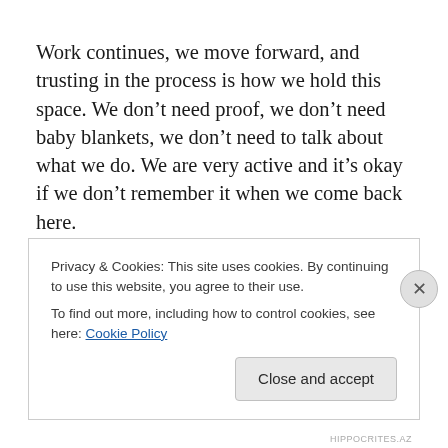Work continues, we move forward, and trusting in the process is how we hold this space. We don't need proof, we don't need baby blankets, we don't need to talk about what we do. We are very active and it's okay if we don't remember it when we come back here.
Moments are like interlaced eons. Our brains can only process so much at a time. When we stop to look for
Privacy & Cookies: This site uses cookies. By continuing to use this website, you agree to their use.
To find out more, including how to control cookies, see here: Cookie Policy
Close and accept
HIPPOCRITES.AZ